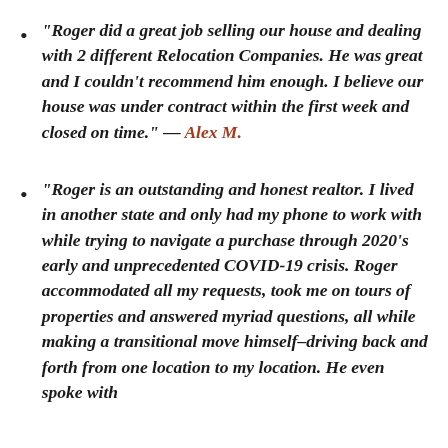“Roger did a great job selling our house and dealing with 2 different Relocation Companies. He was great and I couldn’t recommend him enough. I believe our house was under contract within the first week and closed on time.” — Alex M.
“Roger is an outstanding and honest realtor. I lived in another state and only had my phone to work with while trying to navigate a purchase through 2020’s early and unprecedented COVID-19 crisis. Roger accommodated all my requests, took me on tours of properties and answered myriad questions, all while making a transitional move himself–driving back and forth from one location to my location. He even spoke with...